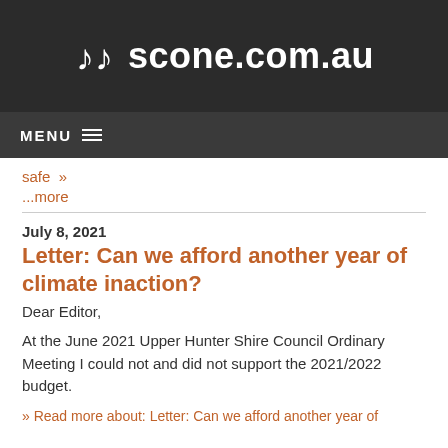scone.com.au
MENU
safe »
...more
July 8, 2021
Letter: Can we afford another year of climate inaction?
Dear Editor,
At the June 2021 Upper Hunter Shire Council Ordinary Meeting I could not and did not support the 2021/2022 budget.
» Read more about: Letter: Can we afford another year of